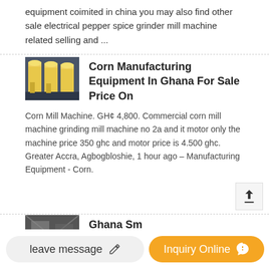equipment coimited in china you may also find other sale electrical pepper spice grinder mill machine related selling and ...
[Figure (photo): Industrial corn mill / grinding machine equipment, yellow and white machinery in a factory setting]
Corn Manufacturing Equipment In Ghana For Sale Price On
Corn Mill Machine. GH¢ 4,800. Commercial corn mill machine grinding mill machine no 2a and it motor only the machine price 350 ghc and motor price is 4.500 ghc. Greater Accra, Agbogbloshie, 1 hour ago – Manufacturing Equipment - Corn.
[Figure (photo): Industrial equipment thumbnail, partially visible - Ghana Sm...]
Ghana Sm
Feldspar grinding machine fo...
leave message
Inquiry Online